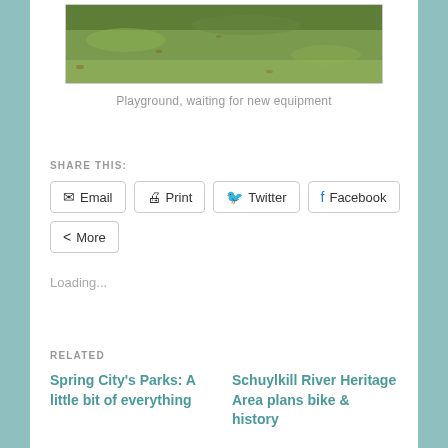[Figure (photo): A grassy playground area with no equipment, showing green grass field waiting for new playground equipment to be installed.]
Playground, waiting for new equipment
SHARE THIS:
Email | Print | Twitter | Facebook | More
Loading...
RELATED
Spring City's Parks: A little bit of everything
Schuylkill River Heritage Area plans bike & history